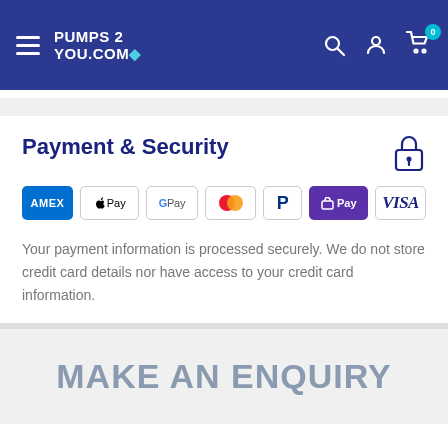PUMPS 2 YOU.COM — navigation with search, account, cart (0)
Payment & Security
[Figure (other): Payment method badges: American Express, Apple Pay, Google Pay, Mastercard, PayPal, Shop Pay, Visa]
Your payment information is processed securely. We do not store credit card details nor have access to your credit card information.
MAKE AN ENQUIRY